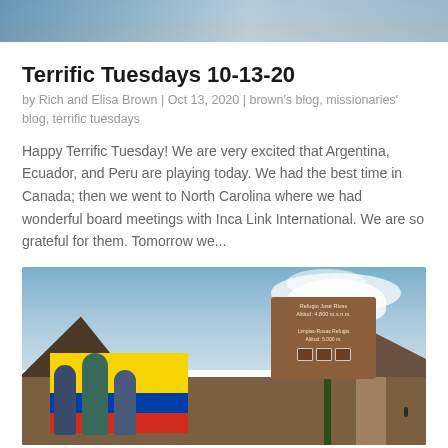[Figure (photo): Partial photo at top of page showing people, cropped to a narrow strip at the top]
Terrific Tuesdays 10-13-20
by Rich and Elisa Brown | Oct 13, 2020 | brown's blog, missionaries' blog, terrific tuesdays
Happy Terrific Tuesday! We are very excited that Argentina, Ecuador, and Peru are playing today. We had the best time in Canada; then we went to North Carolina where we had wonderful board meetings with Inca Link International. We are so grateful for them. Tomorrow we...
[Figure (photo): Photo of people holding an Ecuador flag in front of a wooden sign (Refugio José Rivas) on a mountain with snow-capped peaks and cloudy sky in background]